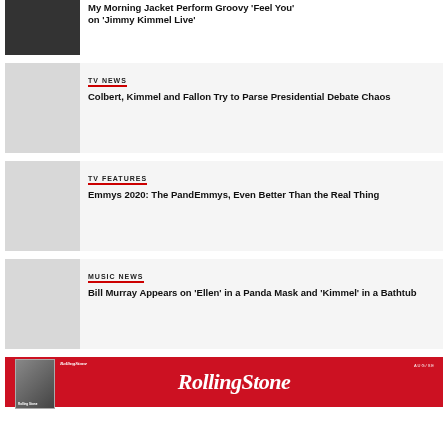[Figure (photo): Dark photo of a drummer performing]
My Morning Jacket Perform Groovy 'Feel You' on 'Jimmy Kimmel Live'
[Figure (photo): Light gray thumbnail placeholder for TV News article]
TV NEWS
Colbert, Kimmel and Fallon Try to Parse Presidential Debate Chaos
[Figure (photo): Light gray thumbnail placeholder for TV Features article]
TV FEATURES
Emmys 2020: The PandEmmys, Even Better Than the Real Thing
[Figure (photo): Light gray thumbnail placeholder for Music News article]
MUSIC NEWS
Bill Murray Appears on 'Ellen' in a Panda Mask and 'Kimmel' in a Bathtub
[Figure (logo): Rolling Stone magazine advertisement banner with red background and white Rolling Stone logo]